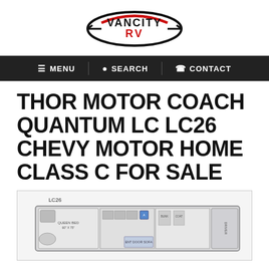[Figure (logo): VanCity RV logo with circular graphic and stylized text]
≡ MENU   🔍 SEARCH   📞 CONTACT
THOR MOTOR COACH QUANTUM LC LC26 CHEVY MOTOR HOME CLASS C FOR SALE
[Figure (schematic): Floor plan schematic of Thor Motor Coach Quantum LC LC26 showing queen bed, kitchen area, and entry door layout]